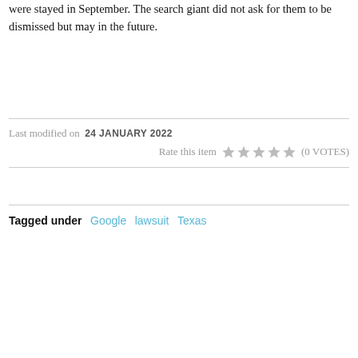were stayed in September. The search giant did not ask for them to be dismissed but may in the future.
Last modified on 24 JANUARY 2022
Rate this item (0 VOTES)
Tagged under Google lawsuit Texas